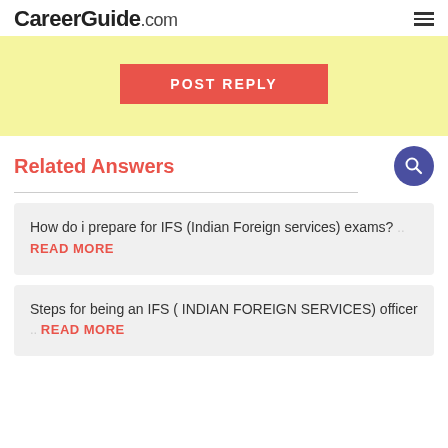CareerGuide.com
[Figure (other): POST REPLY button on yellow background]
Related Answers
How do i prepare for IFS (Indian Foreign services) exams? .. READ MORE
Steps for being an IFS ( INDIAN FOREIGN SERVICES) officer .. READ MORE